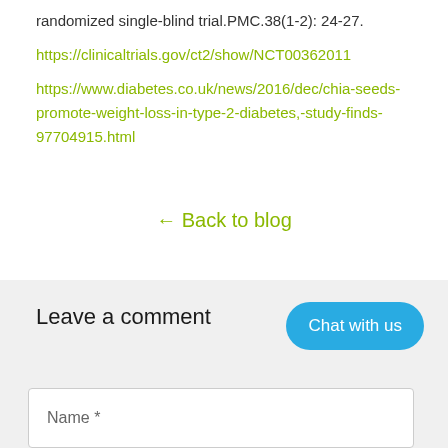randomized single-blind trial.PMC.38(1-2): 24-27.
https://clinicaltrials.gov/ct2/show/NCT00362011
https://www.diabetes.co.uk/news/2016/dec/chia-seeds-promote-weight-loss-in-type-2-diabetes,-study-finds-97704915.html
← Back to blog
Leave a comment
Name *